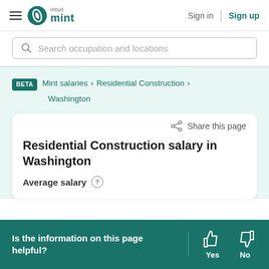Intuit Mint — Sign in | Sign up
Search occupation and locations
BETA  Mint salaries > Residential Construction > Washington
Share this page
Residential Construction salary in Washington
Average salary ?
Is the information on this page helpful?  Yes  No